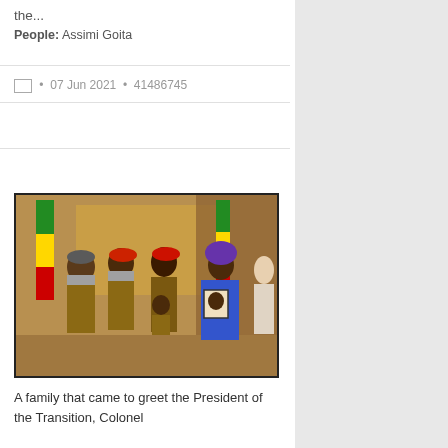the...
People: Assimi Goita
📷 • 07 Jun 2021 • 41486745
[Figure (photo): A group of people including soldiers in military uniforms wearing red berets and face masks, standing with Malian flags. A woman in a blue dress and purple headscarf holds a framed portrait photo.]
A family that came to greet the President of the Transition, Colonel Assimi...